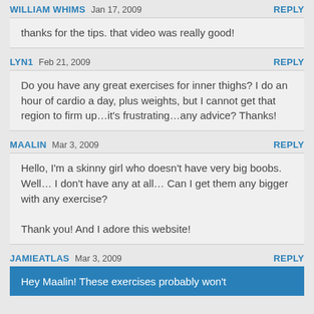WILLIAM WHIMS   Jan 17, 2009   REPLY
thanks for the tips. that video was really good!
LYN1   Feb 21, 2009   REPLY
Do you have any great exercises for inner thighs? I do an hour of cardio a day, plus weights, but I cannot get that region to firm up…it's frustrating…any advice? Thanks!
MAALIN   Mar 3, 2009   REPLY
Hello, I'm a skinny girl who doesn't have very big boobs. Well… I don't have any at all… Can I get them any bigger with any exercise?

Thank you! And I adore this website!
JAMIEATLAS   Mar 3, 2009   REPLY
Hey Maalin! These exercises probably won't…